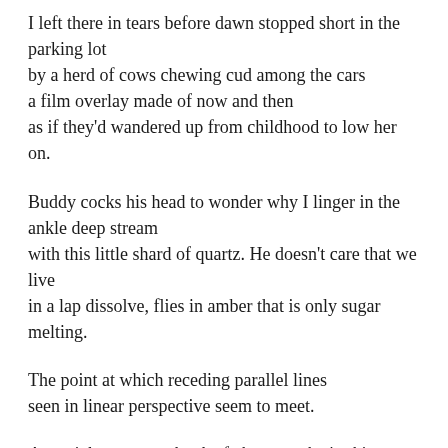I left there in tears before dawn stopped short in the parking lot
by a herd of cows chewing cud among the cars
a film overlay made of now and then
as if they'd wandered up from childhood to low her on.
Buddy cocks his head to wonder why I linger in the ankle deep stream
with this little shard of quartz. He doesn't care that we live
in a lap dissolve, flies in amber that is only sugar melting.
The point at which receding parallel lines
seen in linear perspective seem to meet.
An article on a new book of photography in this morning's Washington Post sent me down this rabbit hole! Here's the